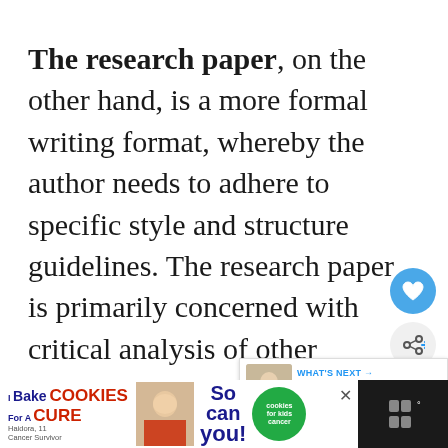The research paper, on the other hand, is a more formal writing format, whereby the author needs to adhere to specific style and structure guidelines. The research paper is primarily concerned with critical analysis of other available research. The author is expected to review existing literature, compile re[levant] information for discussion and draw a [conclusion]
[Figure (screenshot): Bottom advertisement banner: 'I Bake COOKIES For A CURE' with cookies for kids cancer logo and child photo]